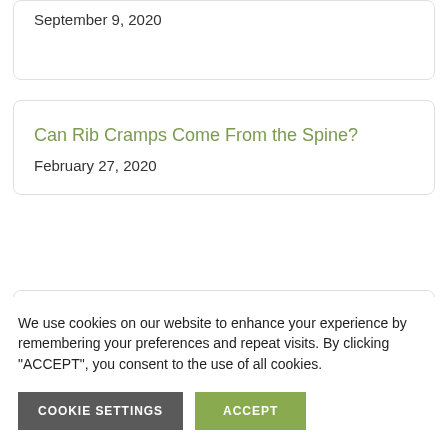September 9, 2020
Can Rib Cramps Come From the Spine?
February 27, 2020
Rotated Pelvis Symptoms, Causes and Fixes
We use cookies on our website to enhance your experience by remembering your preferences and repeat visits. By clicking "ACCEPT", you consent to the use of all cookies.
COOKIE SETTINGS
ACCEPT